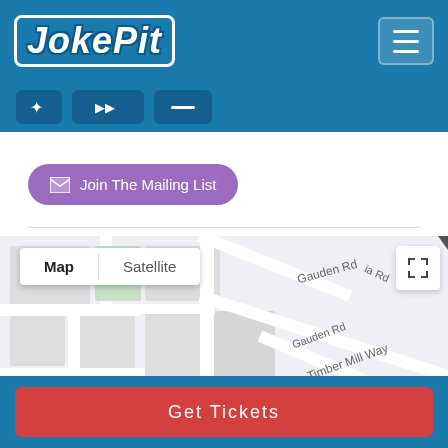JokePit
[Figure (screenshot): JokePit website screenshot showing a map view of Manor Ballet - Clapham with Map/Satellite toggle, a Join The Mailing List button, and a Get Tickets button at the bottom]
Join The Mailing List
Map | Satellite
Manor Ballet - Clapham
Get Tickets